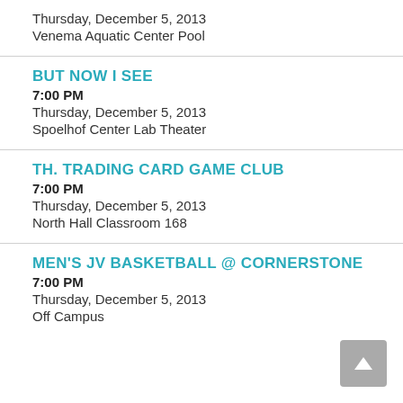Thursday, December 5, 2013
Venema Aquatic Center Pool
BUT NOW I SEE
7:00 PM
Thursday, December 5, 2013
Spoelhof Center Lab Theater
TH. TRADING CARD GAME CLUB
7:00 PM
Thursday, December 5, 2013
North Hall Classroom 168
MEN'S JV BASKETBALL @ CORNERSTONE
7:00 PM
Thursday, December 5, 2013
Off Campus